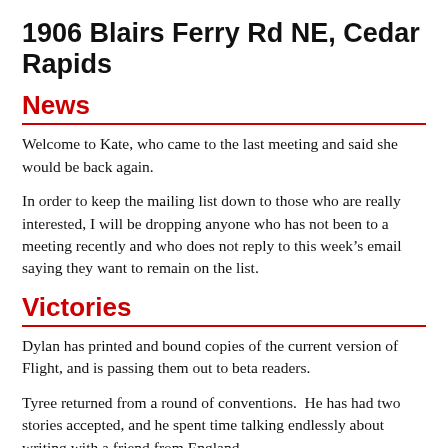1906 Blairs Ferry Rd NE, Cedar Rapids
News
Welcome to Kate, who came to the last meeting and said she would be back again.
In order to keep the mailing list down to those who are really interested, I will be dropping anyone who has not been to a meeting recently and who does not reply to this week’s email saying they want to remain on the list.
Victories
Dylan has printed and bound copies of the current version of Flight, and is passing them out to beta readers.
Tyree returned from a round of conventions.  He has had two stories accepted, and he spent time talking endlessly about writing with a friend from England.